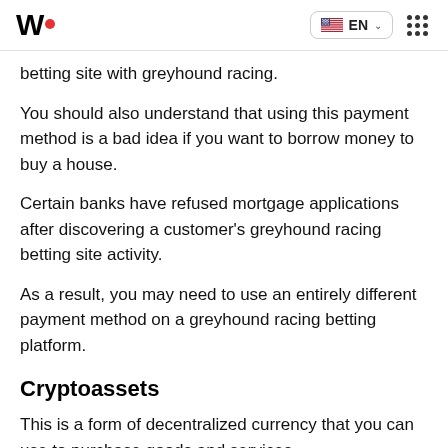W• EN
betting site with greyhound racing.
You should also understand that using this payment method is a bad idea if you want to borrow money to buy a house.
Certain banks have refused mortgage applications after discovering a customer's greyhound racing betting site activity.
As a result, you may need to use an entirely different payment method on a greyhound racing betting platform.
Cryptoassets
This is a form of decentralized currency that you can use to purchase goods and services.
There are thousands of cryptocurrencies, including